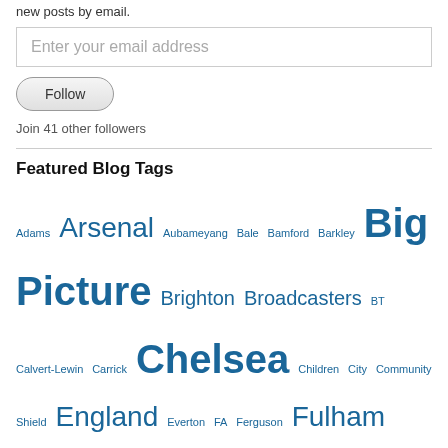new posts by email.
Enter your email address
Follow
Join 41 other followers
Featured Blog Tags
Adams Arsenal Aubameyang Bale Bamford Barkley Big Picture Brighton Broadcasters BT Calvert-Lewin Carrick Chelsea Children City Community Shield England Everton FA Ferguson Fulham Gambling Government Grealish Ings Ireland Jota Kane Klopp Lamela League Cup Leeds Leicester Liverpool Lockdown Man City